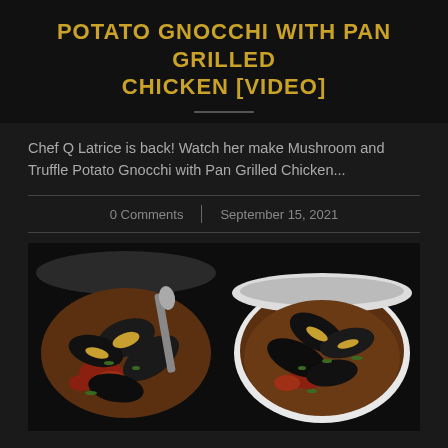POTATO GNOCCHI WITH PAN GRILLED CHICKEN [VIDEO]
Chef Q Latrice is back! Watch her make Mushroom and Truffle Potato Gnocchi with Pan Grilled Chicken...
0 Comments | September 15, 2021
[Figure (photo): Two side-by-side photos of bowls of mussels with tomatoes and herbs, served over pasta or gnocchi, on a dark background.]